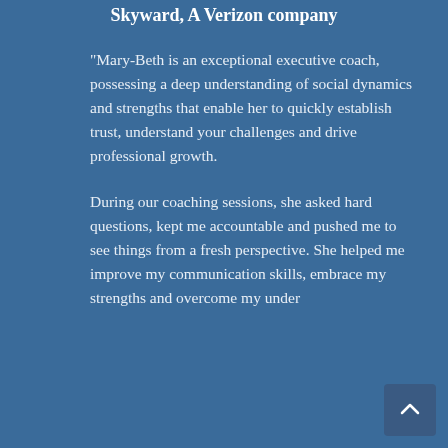Skyward, A Verizon company
"Mary-Beth is an exceptional executive coach, possessing a deep understanding of social dynamics and strengths that enable her to quickly establish trust, understand your challenges and drive professional growth.
During our coaching sessions, she asked hard questions, kept me accountable and pushed me to see things from a fresh perspective. She helped me improve my communication skills, embrace my strengths and overcome my under